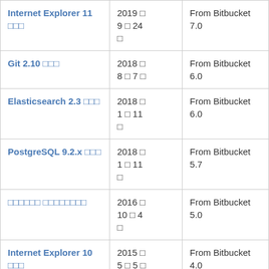| Internet Explorer 11 □□□ | 2019 □ 9 □ 24 □ | From Bitbucket 7.0 |
| Git 2.10 □□□ | 2018 □ 8 □ 7 □ | From Bitbucket 6.0 |
| Elasticsearch 2.3 □□□ | 2018 □ 1 □ 11 □ | From Bitbucket 6.0 |
| PostgreSQL 9.2.x □□□ | 2018 □ 1 □ 11 □ | From Bitbucket 5.7 |
| □□□□□□ □□□□□□□□ | 2016 □ 10 □ 4 □ | From Bitbucket 5.0 |
| Internet Explorer 10 □□□ | 2015 □ 5 □ 5 □ | From Bitbucket 4.0 |